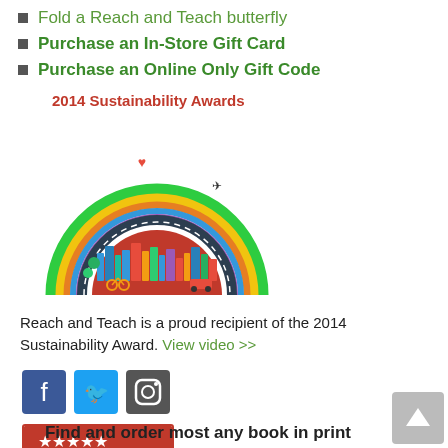Fold a Reach and Teach butterfly
Purchase an In-Store Gift Card
Purchase an Online Only Gift Code
2014 Sustainability Awards
[Figure (illustration): Colorful semi-circular illustration of a sustainable city with rainbow arcs, buildings, vehicles, and a large red semicircle at the base. Represents 2014 Sustainability Awards.]
Reach and Teach is a proud recipient of the 2014 Sustainability Award. View video >>
[Figure (logo): Facebook, Twitter, and Instagram social media icon buttons in blue squares]
[Figure (infographic): Yelp widget showing 5 red stars and text 'We have 83 reviews' with Yelp logo]
[Figure (other): Scroll-to-top button with upward arrow]
Find and order most any book in print